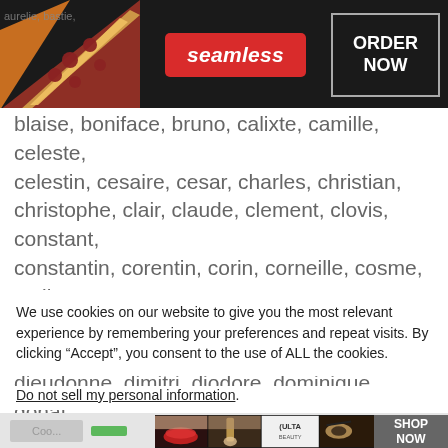[Figure (screenshot): Seamless food delivery advertisement banner with pizza image, red 'seamless' button, and 'ORDER NOW' box on dark background]
aurelie, bastie, blaise, boniface, bruno, calixte, camille, celeste, celestin, cesaire, cesar, charles, christian, christophe, clair, claude, clement, clovis, constant, constantin, corentin, corin, corneille, cosme, cyril, damien, daniel, david, denis, deodat, desire, didier, dieudonne, dimitri, diodore, dominique, donat, donatien, edgar, edgard, edme, edmond, edouard, elie, eloi, emeric, emile, emilien, emmanuel, enzo,
We use cookies on our website to give you the most relevant experience by remembering your preferences and repeat visits. By clicking “Accept”, you consent to the use of ALL the cookies.
Do not sell my personal information.
[Figure (screenshot): ULTA Beauty advertisement banner with makeup/beauty images and 'SHOP NOW' button, with CLOSE button above]